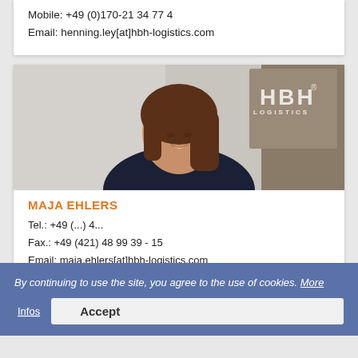Mobile: +49 (0)170-21 34 77 4
Email: henning.ley[at]hbh-logistics.com
[Figure (photo): Portrait photo of Maja Ehlers, a woman with shoulder-length brown hair wearing a dark blazer, in front of a wall with HBH Logistics branding.]
MAJA EHLERS
Tel.: +49 (...) 4...
Fax.: +49 (421) 48 99 39 - 15
Email: maja.ehlers[at]hbh-logistics.com
By continuing to use the site, you agree to the use of cookies. More